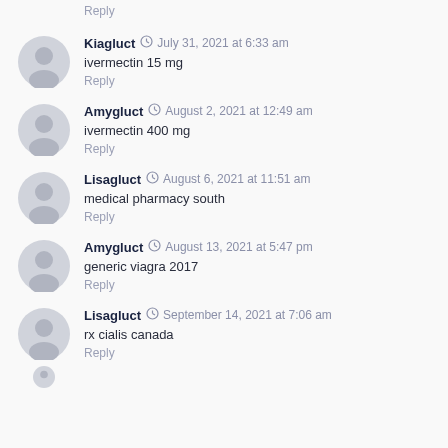Reply
Kiagluct · July 31, 2021 at 6:33 am
ivermectin 15 mg
Reply
Amygluct · August 2, 2021 at 12:49 am
ivermectin 400 mg
Reply
Lisagluct · August 6, 2021 at 11:51 am
medical pharmacy south
Reply
Amygluct · August 13, 2021 at 5:47 pm
generic viagra 2017
Reply
Lisagluct · September 14, 2021 at 7:06 am
rx cialis canada
Reply